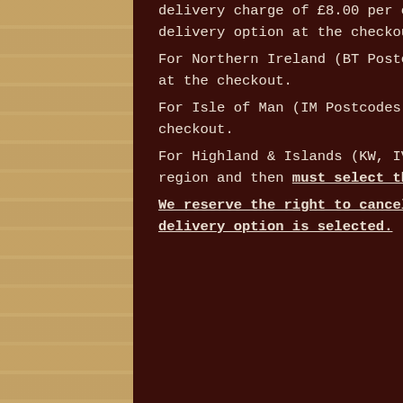delivery charge of £8.00 per order and customers must select the correct delivery option at the checkout. For Northern Ireland (BT Postcodes) – select 'Northern Ireland' region at the checkout. For Isle of Man (IM Postcodes) – select 'Isle of Man' country at the checkout. For Highland & Islands (KW, IV, HS & ZE Postcodes) – select 'Scotland' region and then must select the "Remote Postcode" shipping option. We reserve the right to cancel and refund any orders where the incorrect delivery option is selected.